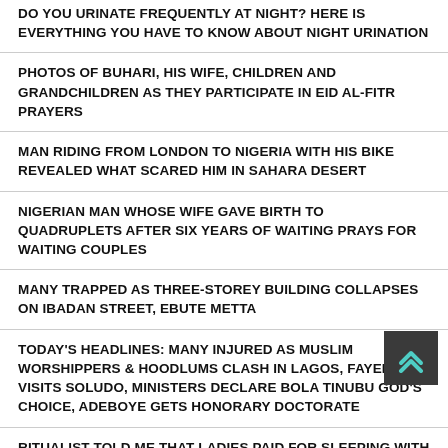DO YOU URINATE FREQUENTLY AT NIGHT? HERE IS EVERYTHING YOU HAVE TO KNOW ABOUT NIGHT URINATION
PHOTOS OF BUHARI, HIS WIFE, CHILDREN AND GRANDCHILDREN AS THEY PARTICIPATE IN EID AL-FITR PRAYERS
MAN RIDING FROM LONDON TO NIGERIA WITH HIS BIKE REVEALED WHAT SCARED HIM IN SAHARA DESERT
NIGERIAN MAN WHOSE WIFE GAVE BIRTH TO QUADRUPLETS AFTER SIX YEARS OF WAITING PRAYS FOR WAITING COUPLES
MANY TRAPPED AS THREE-STOREY BUILDING COLLAPSES ON IBADAN STREET, EBUTE METTA
TODAY'S HEADLINES: MANY INJURED AS MUSLIM WORSHIPPERS & HOODLUMS CLASH IN LAGOS, FAYEMI VISITS SOLUDO, MINISTERS DECLARE BOLA TINUBU GOD'S CHOICE, ADEBOYE GETS HONORARY DOCTORATE
RITUALIST TOLD ME THAT LADIES PAID FOR SLEEPING WITH DOGS ARE USED FOR MONEY RITUALS – KEMI OLUNLOYO